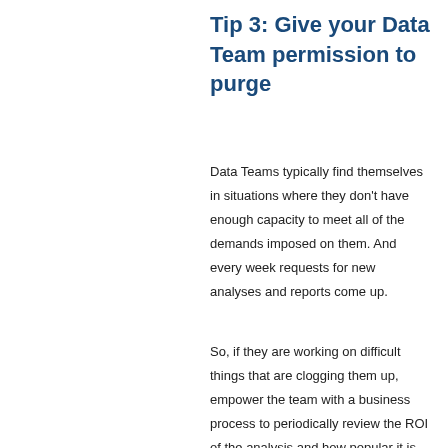Tip 3: Give your Data Team permission to purge
Data Teams typically find themselves in situations where they don’t have enough capacity to meet all of the demands imposed on them. And every week requests for new analyses and reports come up.
So, if they are working on difficult things that are clogging them up, empower the team with a business process to periodically review the ROI of the analysis and how popular it is. Set a bar for minimum expectations, and discontinue anything that doesn’t meet it. For example, if a report is only being used by one